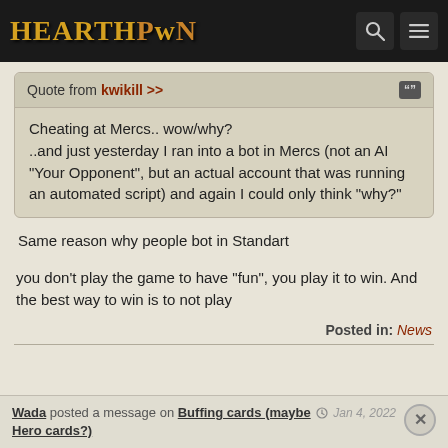HEARTHPWN
Quote from kwikill >>
Cheating at Mercs.. wow/why?
..and just yesterday I ran into a bot in Mercs (not an AI "Your Opponent", but an actual account that was running an automated script) and again I could only think "why?"
Same reason why people bot in Standart
you don't play the game to have "fun", you play it to win. And the best way to win is to not play
Posted in: News
Wada posted a message on Buffing cards (maybe Hero cards?)  Jan 4, 2022